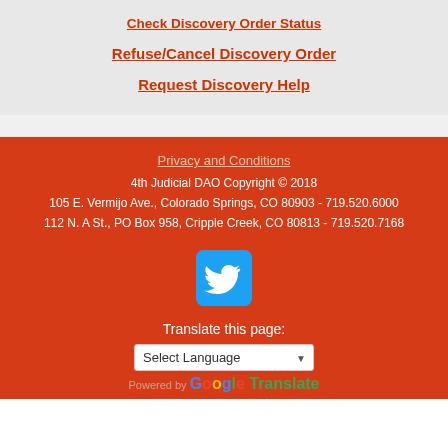Check Discovery Order Status
Refuse/Cancel Discovery Order
Request Discovery Help
Privacy and Conditions
4th Judicial DAO Copyright © 2018
105 E. Vermijo Ave., Colorado Springs, CO 80903 - 719.520.6000
112 N. A St., PO Box 958, Cripple Creek, CO 80813 - 719.520.7168
[Figure (logo): Twitter bird logo on blue rounded square button]
Translate this page:
Select Language
Powered by Google Translate